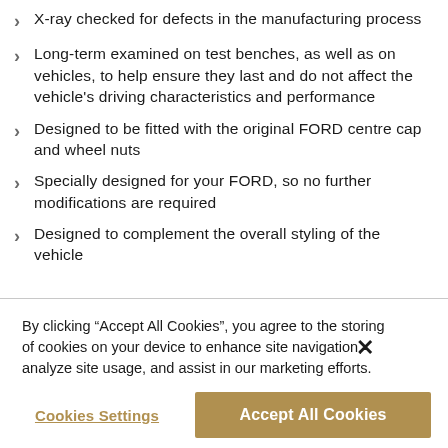X-ray checked for defects in the manufacturing process
Long-term examined on test benches, as well as on vehicles, to help ensure they last and do not affect the vehicle's driving characteristics and performance
Designed to be fitted with the original FORD centre cap and wheel nuts
Specially designed for your FORD, so no further modifications are required
Designed to complement the overall styling of the vehicle
By clicking “Accept All Cookies”, you agree to the storing of cookies on your device to enhance site navigation, analyze site usage, and assist in our marketing efforts.
Cookies Settings
Accept All Cookies